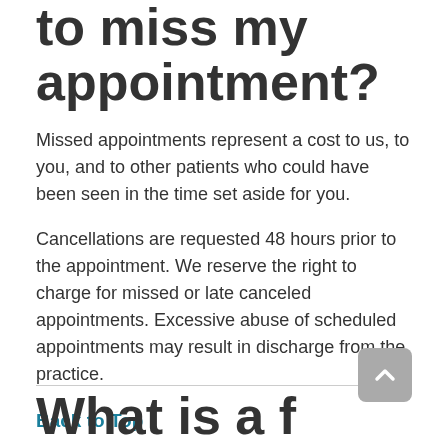to miss my appointment?
Missed appointments represent a cost to us, to you, and to other patients who could have been seen in the time set aside for you.
Cancellations are requested 48 hours prior to the appointment. We reserve the right to charge for missed or late canceled appointments. Excessive abuse of scheduled appointments may result in discharge from the practice.
Back to Top
What is a f